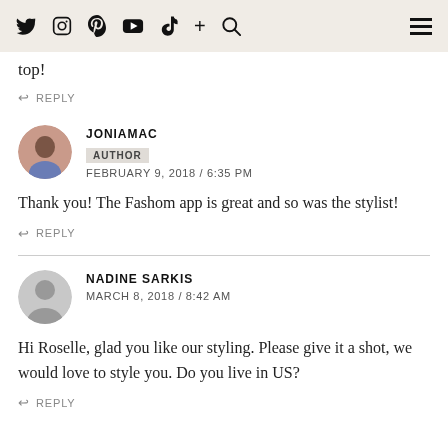Social media icons: Twitter, Instagram, Pinterest, YouTube, TikTok, plus, search, hamburger menu
top!
↩ REPLY
JONIAMAC
AUTHOR
FEBRUARY 9, 2018 / 6:35 PM
Thank you! The Fashom app is great and so was the stylist!
↩ REPLY
NADINE SARKIS
MARCH 8, 2018 / 8:42 AM
Hi Roselle, glad you like our styling. Please give it a shot, we would love to style you. Do you live in US?
↩ REPLY